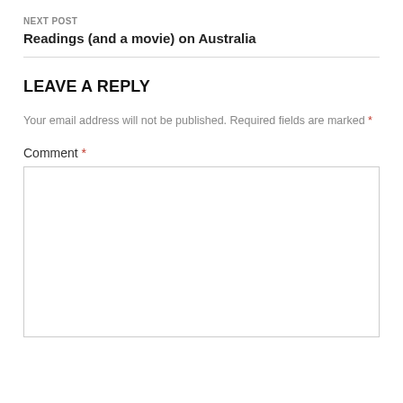NEXT POST
Readings (and a movie) on Australia
LEAVE A REPLY
Your email address will not be published. Required fields are marked *
Comment *